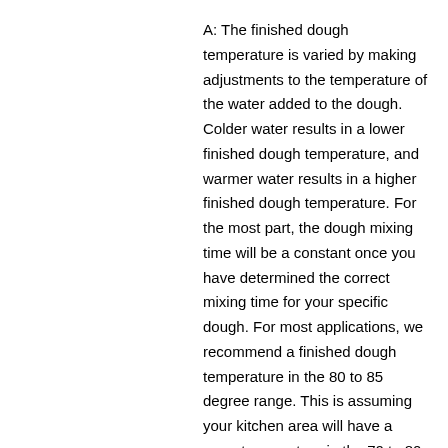A: The finished dough temperature is varied by making adjustments to the temperature of the water added to the dough. Colder water results in a lower finished dough temperature, and warmer water results in a higher finished dough temperature. For the most part, the dough mixing time will be a constant once you have determined the correct mixing time for your specific dough. For most applications, we recommend a finished dough temperature in the 80 to 85 degree range. This is assuming your kitchen area will have a room temperature in the 70 to 80 F range. Cooler or warmer kitchens may require a slightly warmer or colder temperature range.
There are two common ways to calculate the correct water temperature needed to arrive at a predetermined finished dough temperature. One is the procedure given out by Lesaffre/Red Star